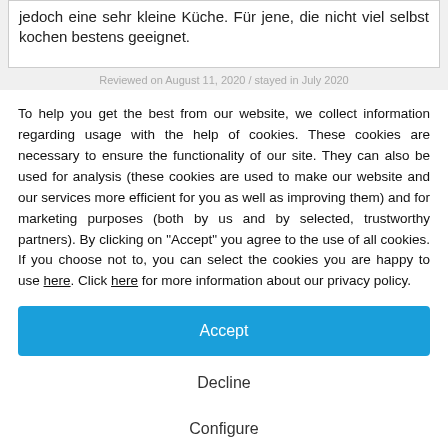jedoch eine sehr kleine Küche. Für jene, die nicht viel selbst kochen bestens geeignet.
Reviewed on August 11, 2020 / stayed in July 2020
To help you get the best from our website, we collect information regarding usage with the help of cookies. These cookies are necessary to ensure the functionality of our site. They can also be used for analysis (these cookies are used to make our website and our services more efficient for you as well as improving them) and for marketing purposes (both by us and by selected, trustworthy partners). By clicking on "Accept" you agree to the use of all cookies. If you choose not to, you can select the cookies you are happy to use here. Click here for more information about our privacy policy.
Accept
Decline
Configure